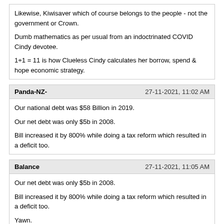Likewise, Kiwisaver which of course belongs to the people - not the government or Crown.

Dumb mathematics as per usual from an indoctrinated COVID Cindy devotee.

1+1 = 11 is how Clueless Cindy calculates her borrow, spend & hope economic strategy.
Panda-NZ-   27-11-2021, 11:02 AM
Our national debt was $58 Billion in 2019.

Our net debt was only $5b in 2008.

Bill increased it by 800% while doing a tax reform which resulted in a deficit too.
Balance   27-11-2021, 11:05 AM
Our net debt was only $5b in 2008.

Bill increased it by 800% while doing a tax reform which resulted in a deficit too.

Yawn.

Back to the old garbage of deflecting from just how Clueless Cindy & her nincompoops really are.

Try answering :

Try telling us how much NZ Super Fund actually increase over that same period as debt increased $72 billion.